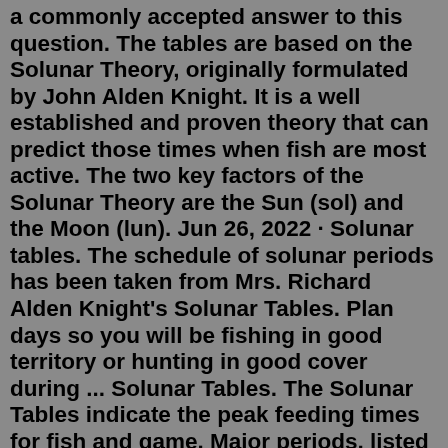a commonly accepted answer to this question. The tables are based on the Solunar Theory, originally formulated by John Alden Knight. It is a well established and proven theory that can predict those times when fish are most active. The two key factors of the Solunar Theory are the Sun (sol) and the Moon (lun). Jun 26, 2022 · Solunar tables. The schedule of solunar periods has been taken from Mrs. Richard Alden Knight's Solunar Tables. Plan days so you will be fishing in good territory or hunting in good cover during ... Solunar Tables. The Solunar Tables indicate the peak feeding times for fish and game. Major periods, listed in bold-face type, can last up to two hours. Minor periods last up to an hour. Vektor ...This FREE interactive Solunar calendar offers the best hunting and fishing times based on your exact location. I'll be for near Current Location: Baxter, MN Legend Could be better... Great day to go! Advertisement GET THE MAGAZINE Subscribe & Save Digital Now Included! Give a Gift | Subscriber